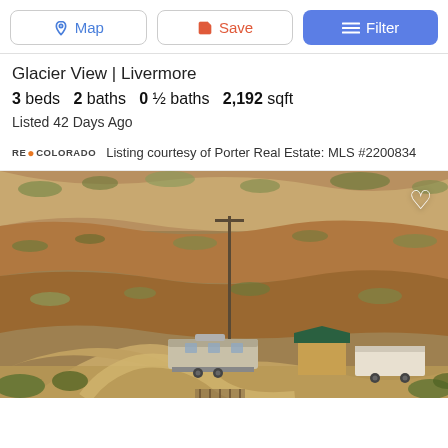Map | Save | Filter
Glacier View | Livermore
3 beds   2 baths   0 ½ baths   2,192 sqft
Listed 42 Days Ago
Listing courtesy of Porter Real Estate: MLS #2200834
[Figure (photo): Aerial view of a rural property with a dirt road, RV/travel trailer, small shed with green roof, and a white trailer/container. Terraced hillside in background with sparse vegetation.]